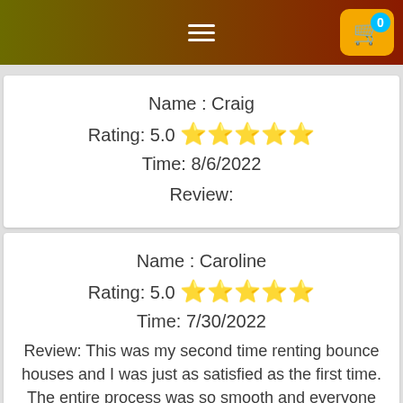Navigation bar with hamburger menu and cart button showing 0 items
Name : Craig
Rating: 5.0 ★★★★★
Time: 8/6/2022
Review:
Name : Caroline
Rating: 5.0 ★★★★★
Time: 7/30/2022
Review: This was my second time renting bounce houses and I was just as satisfied as the first time. The entire process was so smooth and everyone had an amazing time on the bounce house and water slide. We will definitely be renting again! Many